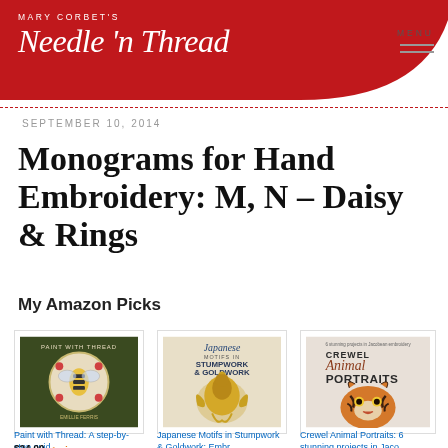Mary Corbet's Needle 'n Thread
SEPTEMBER 10, 2014
Monograms for Hand Embroidery: M, N – Daisy & Rings
My Amazon Picks
[Figure (illustration): Book cover: Paint with Thread - a step-by-step guide, green cover with embroidered bee]
Paint with Thread: A step-by-step guid…
$24.99 prime
[Figure (illustration): Book cover: Japanese Motifs in Stumpwork & Goldwork: Embr…]
Japanese Motifs in Stumpwork & Goldwork: Embr…
[Figure (illustration): Book cover: Crewel Animal Portraits: 6 stunning projects in Jacobean embroidery style, tiger face]
Crewel Animal Portraits: 6 stunning projects in Jaco…